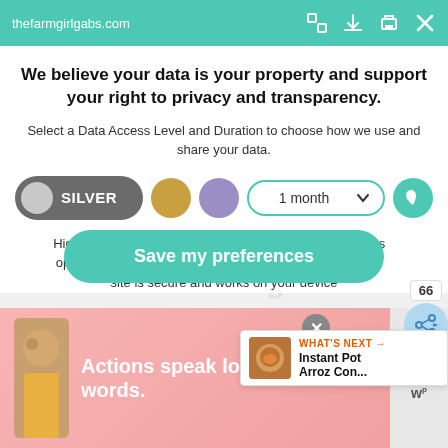thefarmgirlgabs.com
We believe your data is your property and support your right to privacy and transparency.
Select a Data Access Level and Duration to choose how we use and share your data.
[Figure (infographic): Privacy level selector: SILVER toggle (active), gold circle, purple circle, 1 month dropdown, and heart button]
Highest level of privacy. Data accessed for necessary basic operations only. Data shared with 3rd parties to ensure the site is secure and works on your device
[Figure (infographic): Save my preferences button - green rounded button]
[Figure (infographic): Ad banner: Actions speak louder than words.]